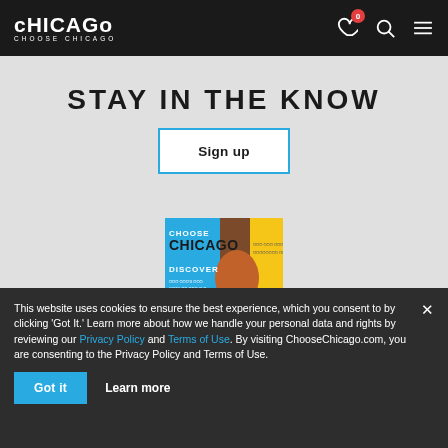Chicago Choose Chicago — navigation bar with logo, heart icon (0), search icon, menu icon
STAY IN THE KNOW
Sign up
[Figure (screenshot): Choose Chicago branded image with 'DISCOVER' text and colorful graphic design in blue, brown, and yellow]
This website uses cookies to ensure the best experience, which you consent to by clicking 'Got It.' Learn more about how we handle your personal data and rights by reviewing our Privacy Policy and Terms of Use. By visiting ChooseChicago.com, you are consenting to the Privacy Policy and Terms of Use.
Got it   Learn more